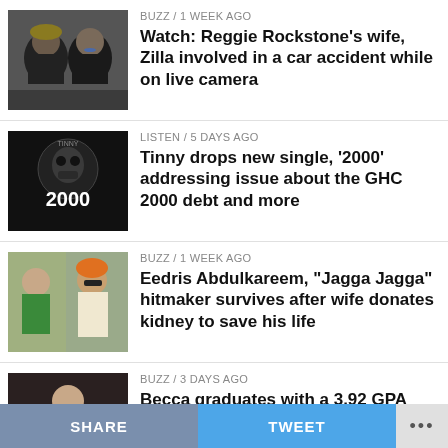[Figure (photo): Thumbnail photo of two people in a car, selfie style]
BUZZ / 1 week ago
Watch: Reggie Rockstone’s wife, Zilla involved in a car accident while on live camera
[Figure (photo): Thumbnail of album art for Tinny '2000' single, dark gothic style with text '2000']
LISTEN / 5 days ago
Tinny drops new single, ‘2000’ addressing issue about the GHC 2000 debt and more
[Figure (photo): Thumbnail photo of Eedris Abdulkareem in traditional attire]
BUZZ / 1 week ago
Eedris Abdulkareem, “Jagga Jagga” hitmaker survives after wife donates kidney to save his life
[Figure (photo): Thumbnail photo of Becca in a white dress]
BUZZ / 3 days ago
Becca graduates with a 3.92 GPA from UPSA, and is the Valedictorian of the graduating class
SHARE   TWEET   ...